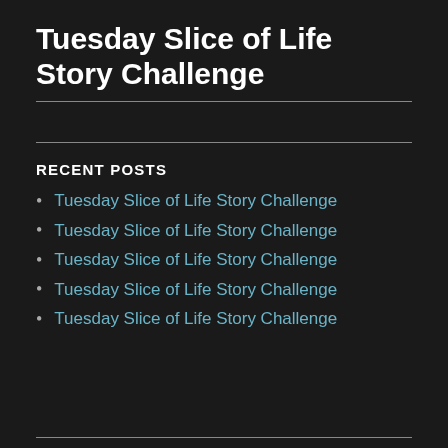Tuesday Slice of Life Story Challenge
RECENT POSTS
Tuesday Slice of Life Story Challenge
Tuesday Slice of Life Story Challenge
Tuesday Slice of Life Story Challenge
Tuesday Slice of Life Story Challenge
Tuesday Slice of Life Story Challenge